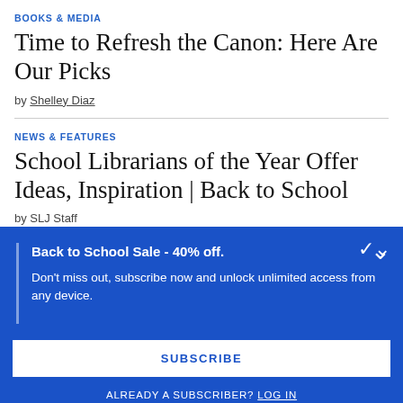BOOKS & MEDIA
Time to Refresh the Canon: Here Are Our Picks
by Shelley Diaz
NEWS & FEATURES
School Librarians of the Year Offer Ideas, Inspiration | Back to School
by SLJ Staff
Back to School Sale - 40% off.
Don't miss out, subscribe now and unlock unlimited access from any device.
SUBSCRIBE
ALREADY A SUBSCRIBER? LOG IN